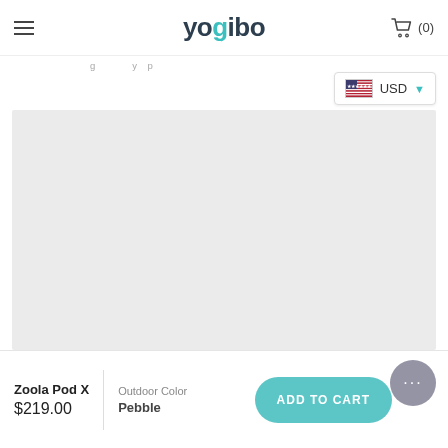yogibo  (0)
USD
[Figure (screenshot): Large light grey product image placeholder area for Zoola Pod X]
Zoola Pod X $219.00
Outdoor Color Pebble
ADD TO CART